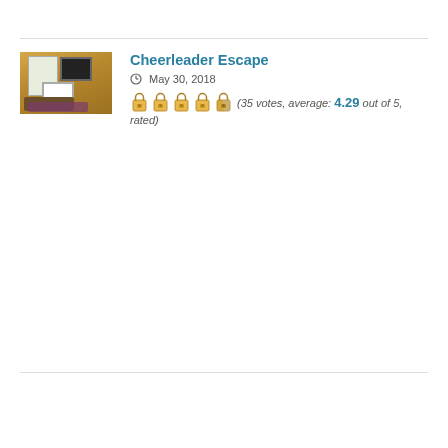[Figure (photo): Thumbnail photo of a room interior with golden/yellow walls, white fireplace, dark TV mounted on wall, purple rug, and brown couch]
Cheerleader Escape
May 30, 2018
(35 votes, average: 4.29 out of 5, rated)